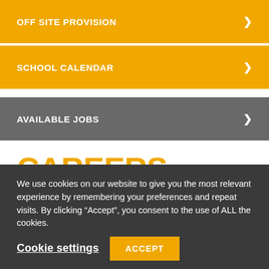OFF SITE PROVISION
SCHOOL CALENDAR
AVAILABLE JOBS
CAREERS SERVICE SUMMER NEWSLETTER 2019
We use cookies on our website to give you the most relevant experience by remembering your preferences and repeat visits. By clicking “Accept”, you consent to the use of ALL the cookies.
Cookie settings
ACCEPT